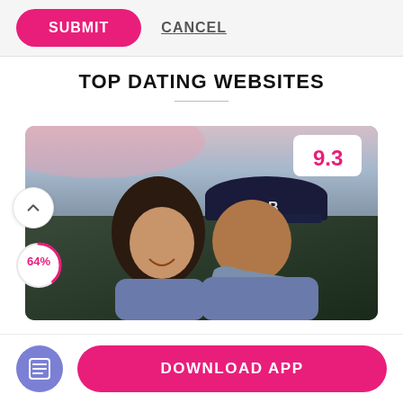SUBMIT
CANCEL
TOP DATING WEBSITES
[Figure (photo): Couple embracing and smiling outdoors at dusk, man wearing navy cap, with score badge showing 9.3 and a 64% circular progress indicator]
DOWNLOAD APP